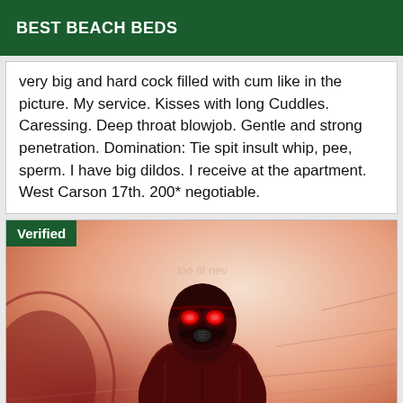BEST BEACH BEDS
very big and hard cock filled with cum like in the picture. My service. Kisses with long Cuddles. Caressing. Deep throat blowjob. Gentle and strong penetration. Domination: Tie spit insult whip, pee, sperm. I have big dildos. I receive at the apartment. West Carson 17th. 200* negotiable.
[Figure (illustration): A comic-book style illustration of a masked figure in a red jacket with glowing red eyes and a gas mask, holding weapons, against a reddish background. A 'Verified' badge appears in the top-left corner of the image.]